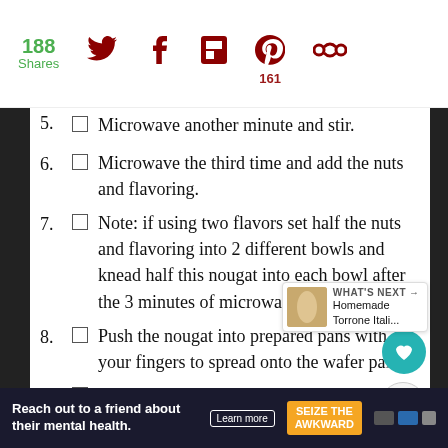188 Shares | Social sharing icons (Twitter, Facebook, Flipboard, Pinterest 161, other)
5. Microwave another minute and stir.
6. Microwave the third time and add the nuts and flavoring.
7. Note: if using two flavors set half the nuts and flavoring into 2 different bowls and knead half this nougat into each bowl after the 3 minutes of microwaving and stirring.
8. Push the nougat into prepared pans with your fingers to spread onto the wafer par
9. Brush the top of the nougat with m... and then add a second sheet of the wafer (or
Reach out to a friend about their mental health. Learn more | SEIZE THE AWKWARD